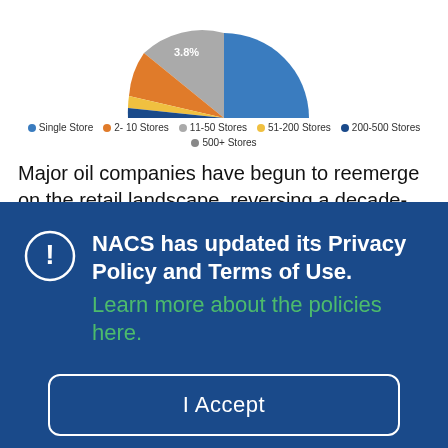[Figure (pie-chart): Partial pie chart visible at top of page with legend showing store count categories. A label '3.8%' is visible on an orange/gray slice.]
Major oil companies have begun to reemerge on the retail landscape, reversing a decade-plus trend that reduced their share of the market to less than 0.5% by 2017. Shell Oil Co./Motiva Enterprises LLC, Chevron Corp., Exxon Mobil Corp., BP North America and ConocoPhillips/Phillips 66 collectively have approximately 15,400 stores that all are franchis...
NACS has updated its Privacy Policy and Terms of Use. Learn more about the policies here.
I Accept